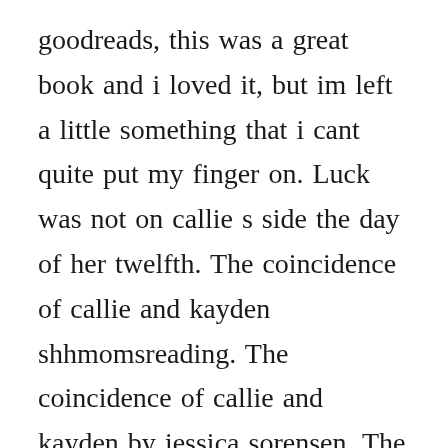goodreads, this was a great book and i loved it, but im left a little something that i cant quite put my finger on. Luck was not on callie s side the day of her twelfth. The coincidence of callie and kayden shhmomsreading. The coincidence of callie and kayden by jessica sorensen. The redemption of callie and kayden the coincidence. Download for offline reading, highlight, bookmark or take notes while you read the coincidence of callie and kayden. Kayden attempts suicide after being stabbed by his father. Jessica sorensen, leslie